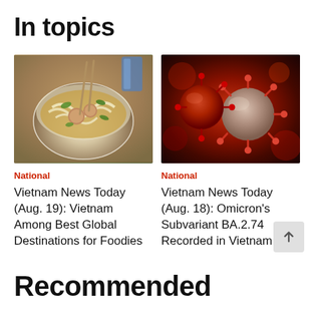In topics
[Figure (photo): Photo of Vietnamese pho soup bowl with noodles, meat, and herbs, viewed from above with chopsticks]
National
Vietnam News Today (Aug. 19): Vietnam Among Best Global Destinations for Foodies
[Figure (photo): 3D illustration of coronavirus particles with red spike proteins on dark background]
National
Vietnam News Today (Aug. 18): Omicron's Subvariant BA.2.74 Recorded in Vietnam
Recommended